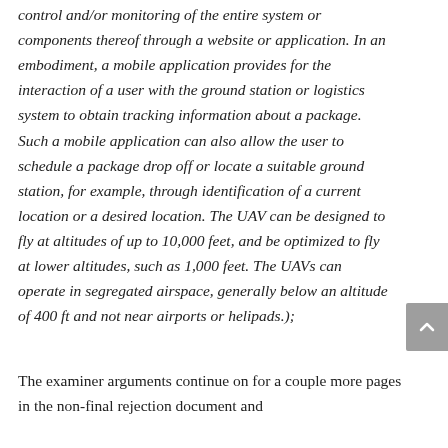control and/or monitoring of the entire system or components thereof through a website or application. In an embodiment, a mobile application provides for the interaction of a user with the ground station or logistics system to obtain tracking information about a package. Such a mobile application can also allow the user to schedule a package drop off or locate a suitable ground station, for example, through identification of a current location or a desired location. The UAV can be designed to fly at altitudes of up to 10,000 feet, and be optimized to fly at lower altitudes, such as 1,000 feet. The UAVs can operate in segregated airspace, generally below an altitude of 400 ft and not near airports or helipads.);
The examiner arguments continue on for a couple more pages in the non-final rejection document and